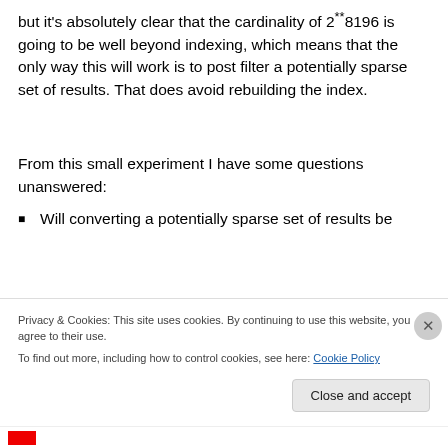but it's absolutely clear that the cardinality of 2**8196 is going to be well beyond indexing, which means that the only way this will work is to post filter a potentially sparse set of results. That does avoid rebuilding the index.
From this small experiment I have some questions unanswered:
Will converting a potentially sparse set of results be
Privacy & Cookies: This site uses cookies. By continuing to use this website, you agree to their use.
To find out more, including how to control cookies, see here: Cookie Policy